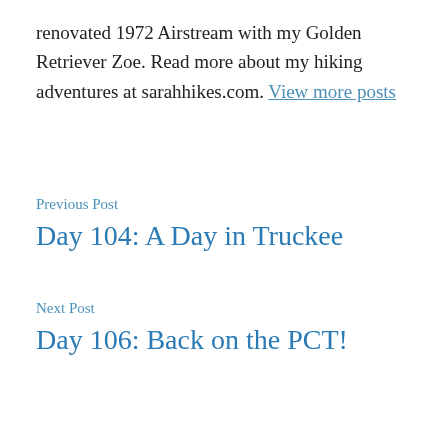renovated 1972 Airstream with my Golden Retriever Zoe. Read more about my hiking adventures at sarahhikes.com. View more posts
Previous Post
Day 104: A Day in Truckee
Next Post
Day 106: Back on the PCT!